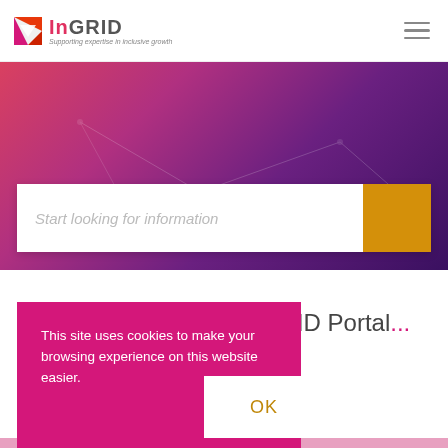[Figure (logo): InGRID logo with orange/red arrow icon and tagline 'Supporting expertise in inclusive growth']
[Figure (screenshot): Hero banner with gradient background (red to purple) containing a search bar with placeholder text 'Start looking for information' and an orange search button]
This site uses cookies to make your browsing experience on this website easier.
You're searching the InGRID Portal...
We found 75 articles ma[tching] your search